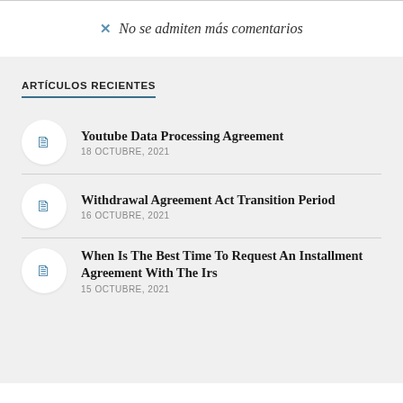✕ No se admiten más comentarios
ARTÍCULOS RECIENTES
Youtube Data Processing Agreement — 18 OCTUBRE, 2021
Withdrawal Agreement Act Transition Period — 16 OCTUBRE, 2021
When Is The Best Time To Request An Installment Agreement With The Irs — 15 OCTUBRE, 2021